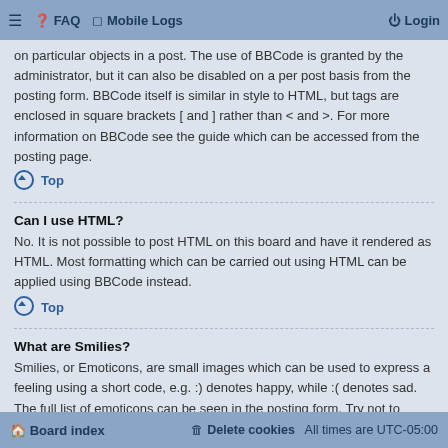☰  FAQ  ☐ Mobile Logs  ⏻ Login
on particular objects in a post. The use of BBCode is granted by the administrator, but it can also be disabled on a per post basis from the posting form. BBCode itself is similar in style to HTML, but tags are enclosed in square brackets [ and ] rather than < and >. For more information on BBCode see the guide which can be accessed from the posting page.
↑ Top
Can I use HTML?
No. It is not possible to post HTML on this board and have it rendered as HTML. Most formatting which can be carried out using HTML can be applied using BBCode instead.
↑ Top
What are Smilies?
Smilies, or Emoticons, are small images which can be used to express a feeling using a short code, e.g. :) denotes happy, while :( denotes sad. The full list of emoticons can be seen in the posting form. Try not to overuse smilies, however, as they can quickly render a post unreadable and a moderator may edit them out or remove the post altogether. The board administrator may also have set a limit to the number of smilies you may use within a post.
↑ Top
Can I post images?
Board index   Delete cookies   All times are UTC-05:00